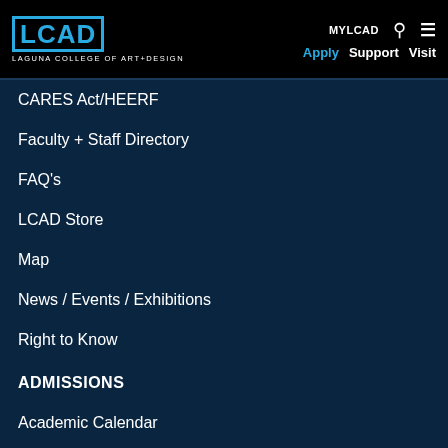LCAD LAGUNA COLLEGE OF ART+DESIGN — MYLCAD Apply Support Visit
CARES Act/HEERF
Faculty + Staff Directory
FAQ's
LCAD Store
Map
News / Events / Exhibitions
Right to Know
ADMISSIONS
Academic Calendar
Financial Aid
Important Forms + Links
LCAD Handbook / Catalog